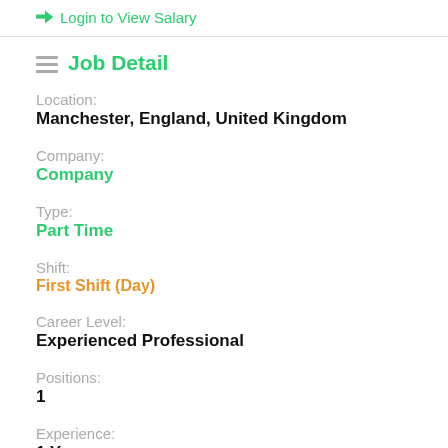Login to View Salary
Job Detail
Location:
Manchester, England, United Kingdom
Company:
Company
Type:
Part Time
Shift:
First Shift (Day)
Career Level:
Experienced Professional
Positions:
1
Experience:
1 Year